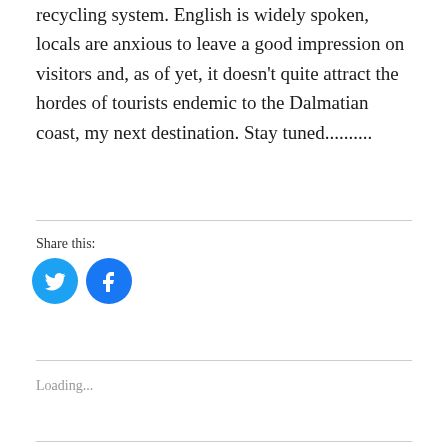recycling system. English is widely spoken, locals are anxious to leave a good impression on visitors and, as of yet, it doesn't quite attract the hordes of tourists endemic to the Dalmatian coast, my next destination. Stay tuned..........
Share this:
[Figure (other): Twitter and Facebook share button icons — two circular blue buttons, left is Twitter bird icon, right is Facebook 'f' icon]
Loading...